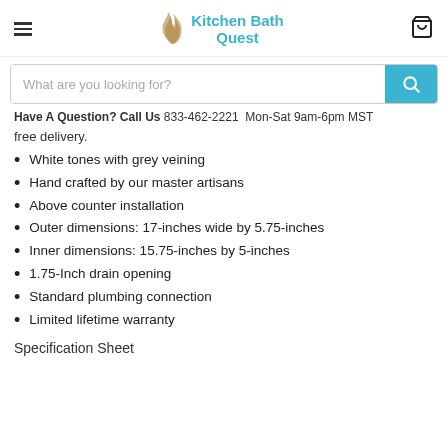Kitchen Bath Quest
What are you looking for?
Have A Question? Call Us 833-462-2221 Mon-Sat 9am-6pm MST
free delivery.
White tones with grey veining
Hand crafted by our master artisans
Above counter installation
Outer dimensions: 17-inches wide by 5.75-inches
Inner dimensions: 15.75-inches by 5-inches
1.75-Inch drain opening
Standard plumbing connection
Limited lifetime warranty
Specification Sheet